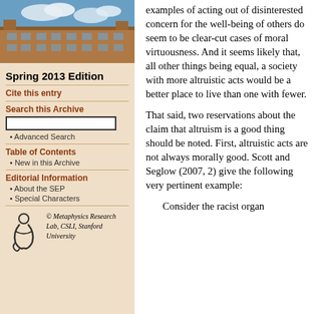[Figure (photo): Photograph of a university building with Gothic architecture and blue sky with clouds]
Spring 2013 Edition
Cite this entry
Search this Archive
Advanced Search
Table of Contents
New in this Archive
Editorial Information
About the SEP
Special Characters
[Figure (logo): Metaphysics Research Lab logo with stylized figure]
© Metaphysics Research Lab, CSLI, Stanford University
examples of acting out of disinterested concern for the well-being of others do seem to be clear-cut cases of moral virtuousness. And it seems likely that, all other things being equal, a society with more altruistic acts would be a better place to live than one with fewer.
That said, two reservations about the claim that altruism is a good thing should be noted. First, altruistic acts are not always morally good. Scott and Seglow (2007, 2) give the following very pertinent example:
Consider the racist organ